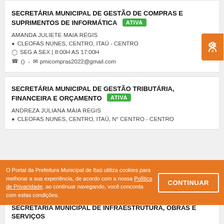SECRETÁRIA MUNICIPAL DE GESTÃO DE COMPRAS E SUPRIMENTOS DE INFORMÁTICA ATIVA
AMANDA JULIETE MAIA RÉGIS
CLEOFAS NUNES, CENTRO, ITAÚ - CENTRO
SEG A SEX | 8:00H AS 17:00H
() - pmicompras2022@gmail.com
SECRETÁRIA MUNICIPAL DE GESTÃO TRIBUTÁRIA, FINANCEIRA E ORÇAMENTO ATIVA
ANDREZA JULIANA MAIA RÉGIS
CLEOFAS NUNES, CENTRO, ITAÚ, Nº CENTRO - CENTRO
O Portal da Prefeitura Municipal de Itaú utiliza cookies para melhorar a sua experiência, de acordo com a nossa Política de Privacidade, ao continuar navegando, você concorda com estas condições.
CONTINUAR
SECRETARIA MUNICIPAL DE INFRAESTRUTURA, OBRAS E SERVIÇOS